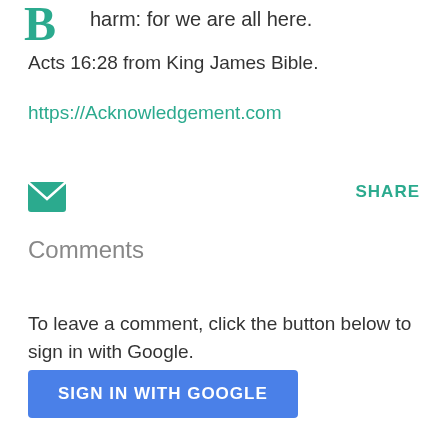harm: for we are all here.
Acts 16:28 from King James Bible.
https://Acknowledgement.com
[Figure (other): Email envelope icon (teal/green)]
SHARE
Comments
To leave a comment, click the button below to sign in with Google.
SIGN IN WITH GOOGLE